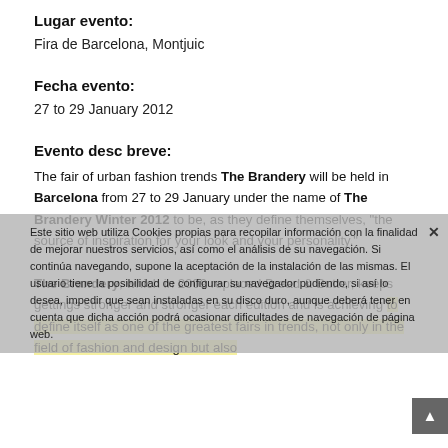Lugar evento:
Fira de Barcelona, Montjuic
Fecha evento:
27 to 29 January 2012
Evento desc breve:
The fair of urban fashion trends The Brandery will be held in Barcelona from 27 to 29 January under the name of The Brandery Winter 2012 to be, as they define themselves, "the source of inspiration for your look and your personality."

The Brandery, which in 2009 replaced Bread & Butter, keeps gettings stronger and stronger each edition and is achieving to define itself as one of the greatest fairs in trends, not only in the field of fashion and design but also
Este sitio web utiliza Cookies propias para recopilar información con la finalidad de mejorar nuestros servicios, así como el análisis de su navegación. Si continúa navegando, supone la aceptación de la instalación de las mismas. El usuario tiene la posibilidad de configurar su navegador pudiendo, si así lo desea, impedir que sean instaladas en su disco duro, aunque deberá tener en cuenta que dicha acción podrá ocasionar dificultades de navegación de página web.